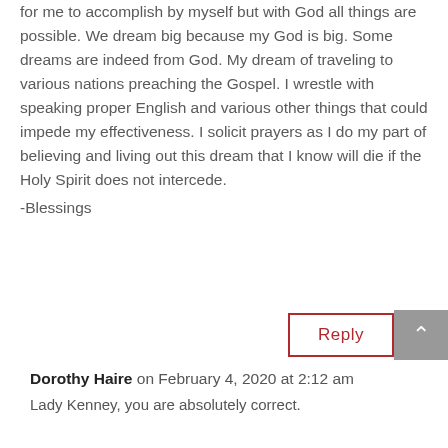for me to accomplish by myself but with God all things are possible. We dream big because my God is big. Some dreams are indeed from God. My dream of traveling to various nations preaching the Gospel. I wrestle with speaking proper English and various other things that could impede my effectiveness. I solicit prayers as I do my part of believing and living out this dream that I know will die if the Holy Spirit does not intercede.
-Blessings
Reply
Dorothy Haire on February 4, 2020 at 2:12 am
Lady Kenney, you are absolutely correct.